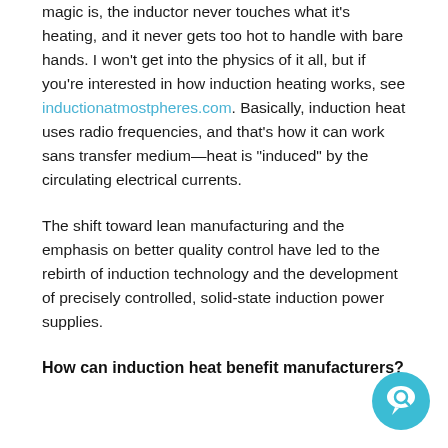magic is, the inductor never touches what it's heating, and it never gets too hot to handle with bare hands. I won't get into the physics of it all, but if you're interested in how induction heating works, see inductionatmostpheres.com. Basically, induction heat uses radio frequencies, and that's how it can work sans transfer medium—heat is "induced" by the circulating electrical currents.
The shift toward lean manufacturing and the emphasis on better quality control have led to the rebirth of induction technology and the development of precisely controlled, solid-state induction power supplies.
How can induction heat benefit manufacturers?
[Figure (illustration): Circular teal chat/comment button icon in bottom-right corner]